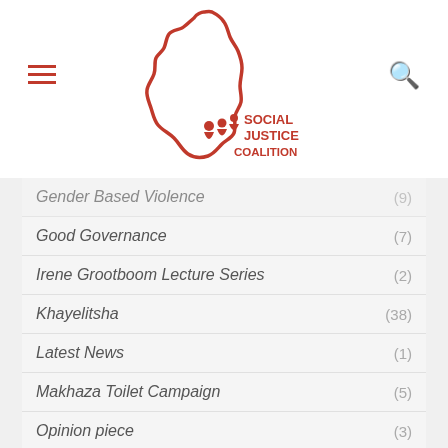[Figure (logo): Social Justice Coalition logo — red outline of Africa continent with silhouettes of people and text 'SOCIAL JUSTICE COALITION' in red]
Gender Based Violence (9)
Good Governance (7)
Irene Grootboom Lecture Series (2)
Khayelitsha (38)
Latest News (1)
Makhaza Toilet Campaign (5)
Opinion piece (3)
Partnership (1)
Press releases (228)
Public Lighting (2)
Publications (4)
Safety and Justice Campaign (41)